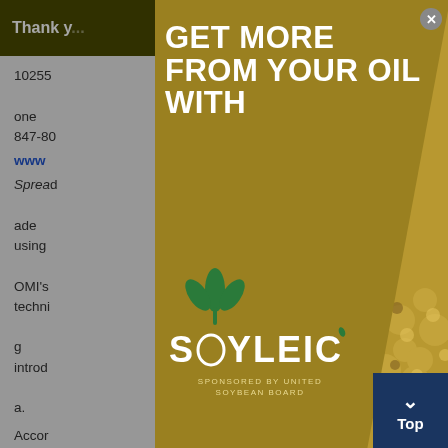Thank you... tools you
10255
847-80
www...
Spread... ade using ... OMI's techni... g introd... a.
Accor... free spread... sweet... to co... than
[Figure (advertisement): Soyleic oil product advertisement modal overlay with gold background. Large white bold text reads 'GET MORE FROM YOUR OIL WITH'. Below is the Soyleic logo featuring a green plant/leaf icon above text reading 'SOYLEIC' in white letters. Bottom text reads 'SPONSORED BY UNITED SOYBEAN BOARD'. Right side of modal shows a photo of soybeans. A close button (X) appears in top right corner.]
Top